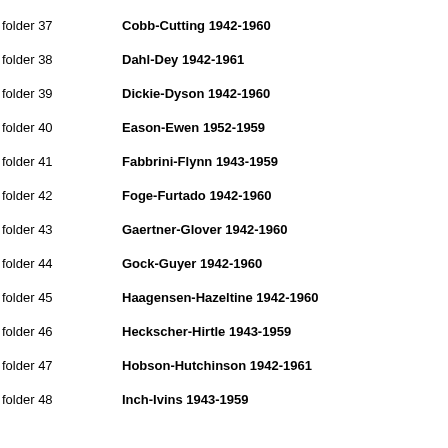folder 37    Cobb-Cutting 1942-1960
folder 38    Dahl-Dey 1942-1961
folder 39    Dickie-Dyson 1942-1960
folder 40    Eason-Ewen 1952-1959
folder 41    Fabbrini-Flynn 1943-1959
folder 42    Foge-Furtado 1942-1960
folder 43    Gaertner-Glover 1942-1960
folder 44    Gock-Guyer 1942-1960
folder 45    Haagensen-Hazeltine 1942-1960
folder 46    Heckscher-Hirtle 1943-1959
folder 47    Hobson-Hutchinson 1942-1961
folder 48    Inch-Ivins 1943-1959